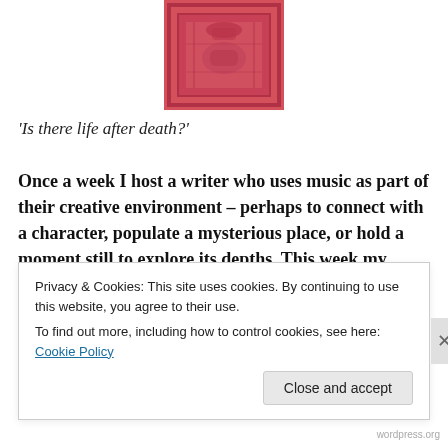[Figure (photo): Pink/red ornate book cover partially visible at the top center of the page]
‘Is there life after death?’
Once a week I host a writer who uses music as part of their creative environment – perhaps to connect with a character, populate a mysterious place, or hold a moment still to explore its depths. This week my guest is debut YA paranormal novelist Christine Banach
Privacy & Cookies: This site uses cookies. By continuing to use this website, you agree to their use.
To find out more, including how to control cookies, see here: Cookie Policy
Close and accept